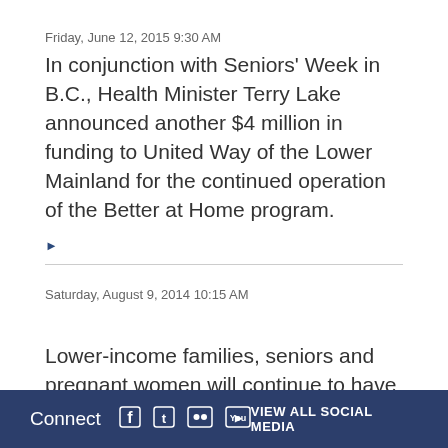Friday, June 12, 2015 9:30 AM
In conjunction with Seniors' Week in B.C., Health Minister Terry Lake announced another $4 million in funding to United Way of the Lower Mainland for the continued operation of the Better at Home program.
Saturday, August 9, 2014 10:15 AM
Lower-income families, seniors and pregnant women will continue to have easier access to healthy, locally
Connect  VIEW ALL SOCIAL MEDIA